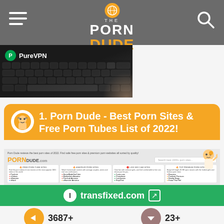THE PORN DUDE
[Figure (screenshot): PureVPN banner with keyboard background image]
1. Porn Dude - Best Porn Sites & Free Porn Tubes List of 2022!
[Figure (screenshot): Screenshot of PornDude.com website showing categories: Free Porn Tube Sites, Amateur Porn Sites, Live Sex Cam Sites, Top Premium Porn Sites]
transfixed.com
3687+
All Porn Sites
23+
Premium Shemale Porn Sites